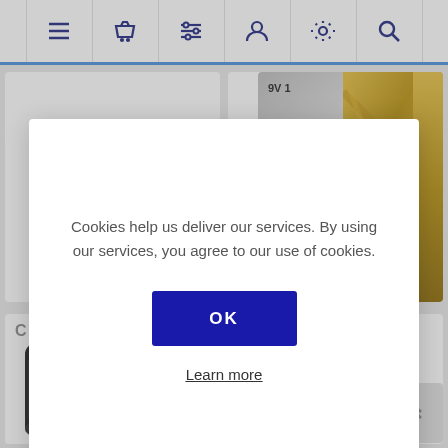Navigation bar with icons: menu, basket, filter, user, settings, search
CABLURI DATE, AUDIO, VIDEO-TV
BATERII SI ACCUMULATOARE
C
[Figure (screenshot): Capacitor component image, black cylindrical electrical component]
[Figure (infographic): Cookie consent modal dialog. Text: Cookies help us deliver our services. By using our services, you agree to our use of cookies. OK button and Learn more link.]
Cookies help us deliver our services. By using our services, you agree to our use of cookies.
OK
Learn more